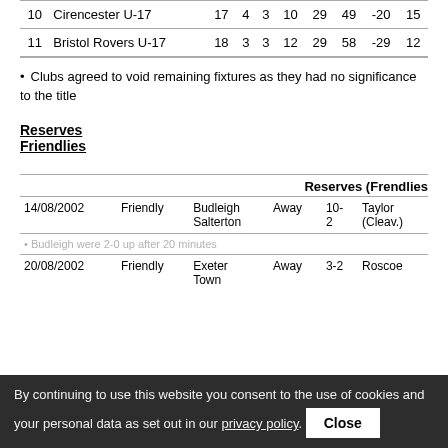| # | Team | P | W | D | L | GF | GA | GD | Pts |
| --- | --- | --- | --- | --- | --- | --- | --- | --- | --- |
| 10 | Cirencester U-17 | 17 | 4 | 3 | 10 | 29 | 49 | -20 | 15 |
| 11 | Bristol Rovers U-17 | 18 | 3 | 3 | 12 | 29 | 58 | -29 | 12 |
Clubs agreed to void remaining fixtures as they had no significance to the title
Reserves
Friendlies
| Reserves (Frendlies) |  |  |  |  |
| --- | --- | --- | --- | --- |
| 14/08/2002 | Friendly | Budleigh Salterton | Away | 10-2 | Taylor (Cleav.) |
| 20/08/2002 | Friendly | Exeter City | Away | 3-2 | Roscoe |
By continuing to use this website you consent to the use of cookies and your personal data as set out in our privacy policy.